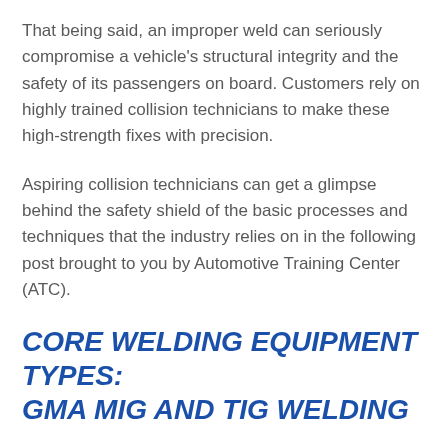That being said, an improper weld can seriously compromise a vehicle's structural integrity and the safety of its passengers on board. Customers rely on highly trained collision technicians to make these high-strength fixes with precision.
Aspiring collision technicians can get a glimpse behind the safety shield of the basic processes and techniques that the industry relies on in the following post brought to you by Automotive Training Center (ATC).
CORE WELDING EQUIPMENT TYPES: GMA MIG AND TIG WELDING